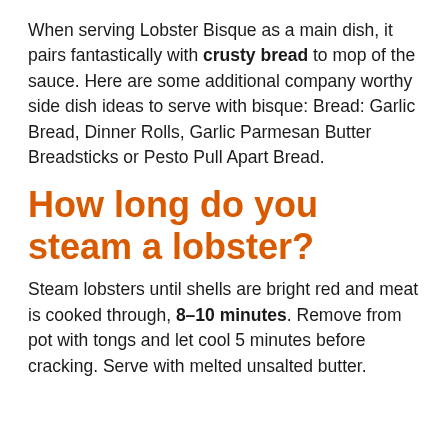When serving Lobster Bisque as a main dish, it pairs fantastically with crusty bread to mop of the sauce. Here are some additional company worthy side dish ideas to serve with bisque: Bread: Garlic Bread, Dinner Rolls, Garlic Parmesan Butter Breadsticks or Pesto Pull Apart Bread.
How long do you steam a lobster?
Steam lobsters until shells are bright red and meat is cooked through, 8–10 minutes. Remove from pot with tongs and let cool 5 minutes before cracking. Serve with melted unsalted butter.